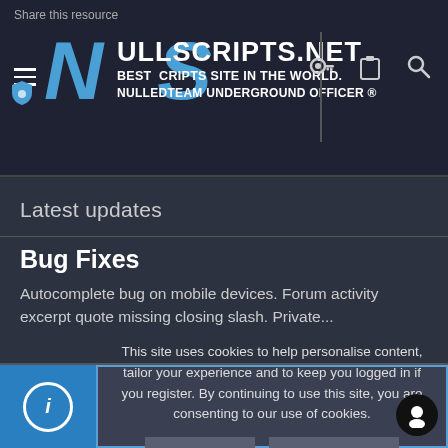Share this resource
[Figure (logo): NullScripts.net logo with hamburger menu and navigation icons. Text reads: NULLSCRIPTS.NET BEST SCRIPTS SITE IN THE WORLD. NULLEDTEAM UNDERGROUND OFFICER]
Latest updates
Bug Fixes
Autocomplete bug on mobile devices. Forum activity excerpt quote missing closing slash. Private...
This site uses cookies to help personalise content, tailor your experience and to keep you logged in if you register. By continuing to use this site, you are consenting to our use of cookies.